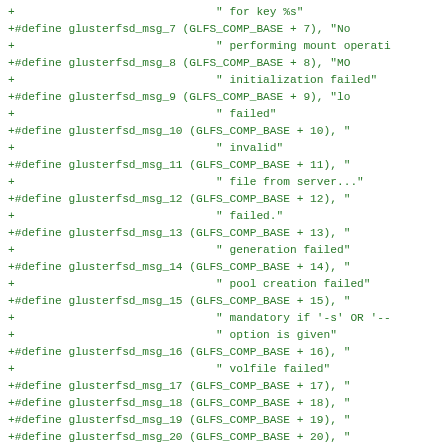Code diff showing glusterfsd message macro definitions (msg_7 through msg_22) with GLFS_COMP_BASE offsets